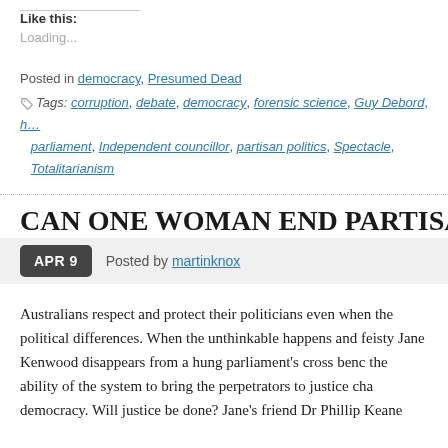Like this:
Loading...
Posted in democracy, Presumed Dead
Tags: corruption, debate, democracy, forensic science, Guy Debord, h… parliament, Independent councillor, partisan politics, Spectacle, Totalitarianism
CAN ONE WOMAN END PARTISAN PO…
APR 9   Posted by martinknox
Australians respect and protect their politicians even when the political differences. When the unthinkable happens and feisty Jane Kenwood disappears from a hung parliament's cross benc the ability of the system to bring the perpetrators to justice cha democracy. Will justice be done? Jane's friend Dr Phillip Keane